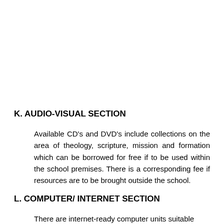K. AUDIO-VISUAL SECTION
Available CD's and DVD's include collections on the area of theology, scripture, mission and formation which can be borrowed for free if to be used within the school premises. There is a corresponding fee if resources are to be brought outside the school.
L. COMPUTER/ INTERNET SECTION
There are internet-ready computer units suitable